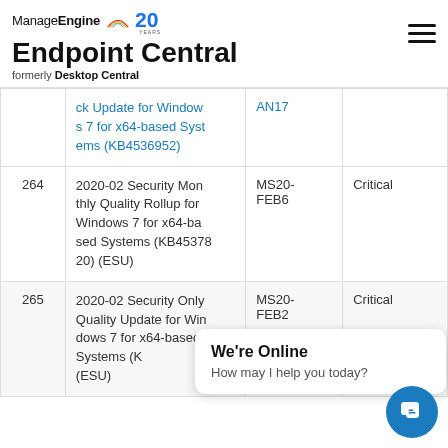ManageEngine Endpoint Central formerly Desktop Central
| # | Patch Name | Bulletin | Severity |
| --- | --- | --- | --- |
|  | ck Update for Windows 7 for x64-based Systems (KB4536952) | AN17 |  |
| 264 | 2020-02 Security Monthly Quality Rollup for Windows 7 for x64-based Systems (KB4537820) (ESU) | MS20-FEB6 | Critical |
| 265 | 2020-02 Security Only Quality Update for Windows 7 for x64-based Systems (K... (ESU) | MS20-FEB2 | Critical |
We're Online
How may I help you today?